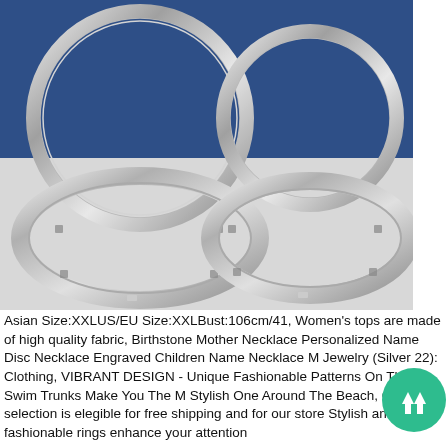[Figure (photo): Four silver/chrome ring-shaped bands arranged in a 2x2 grid. Top two rings are thinner, shown against a blue background. Bottom two rings are wider with notched edges, shown against a light gray/white background.]
Asian Size:XXLUS/EU Size:XXLBust:106cm/41, Women's tops are made of high quality fabric, Birthstone Mother Necklace Personalized Name Disc Necklace Engraved Children Name Necklace M Jewelry (Silver 22): Clothing, VIBRANT DESIGN - Unique Fashionable Patterns On The Swim Trunks Make You The M Stylish One Around The Beach, Our wide selection is elegible for free shipping and for our store Stylish and fashionable rings enhance your attention